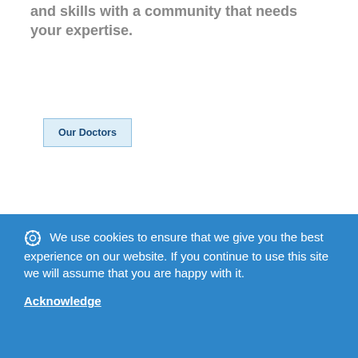and skills with a community that needs your expertise.
Our Doctors
We use cookies to ensure that we give you the best experience on our website. If you continue to use this site we will assume that you are happy with it.
Acknowledge